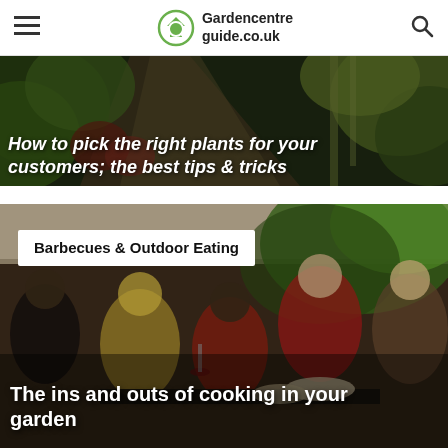Gardencentreguide.co.uk
[Figure (photo): Garden centre with lush green plants and colourful foliage in the background, with a partially visible headline overlay reading 'How to pick the right plants for your customers; the best tips & tricks']
How to pick the right plants for your customers; the best tips & tricks
[Figure (photo): Group of young people socializing and dining outdoors in a garden setting, holding wine glasses around a table with food]
Barbecues & Outdoor Eating
The ins and outs of cooking in your garden